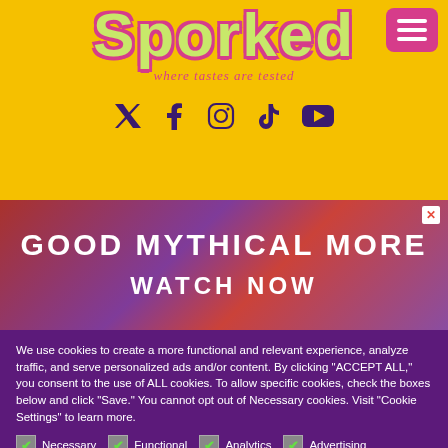[Figure (logo): Sporked logo in green bubble letters with pink outline on yellow background, with tagline 'where tastes are tested']
[Figure (infographic): Social media icons: Twitter, Facebook, Instagram, TikTok, YouTube in dark purple on yellow background]
[Figure (photo): Advertisement banner: GOOD MYTHICAL MORE - WATCH NOW on colorful background]
We use cookies to create a more functional and relevant experience, analyze traffic, and serve personalized ads and/or content. By clicking “ACCEPT ALL,” you consent to the use of ALL cookies. To allow specific cookies, check the boxes below and click “Save.” You cannot opt out of Necessary cookies. Visit “Cookie Settings” to learn more.
Necessary
Functional
Analytics
Advertising
Others
Performance
Cookie settings | Save | ACCEPT ALL